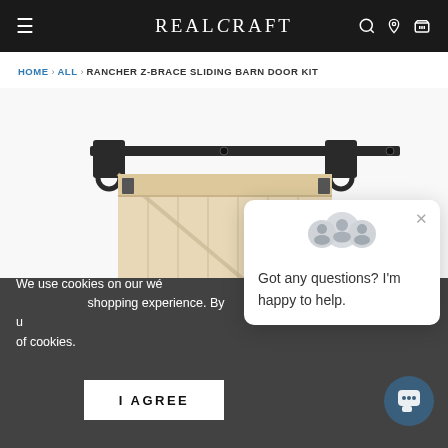REALCRAFT
HOME > ALL > RANCHER Z-BRACE SLIDING BARN DOOR KIT
[Figure (photo): Photo of a sliding barn door with Z-brace design in light natural wood, mounted on a black metal sliding track hardware]
We use cookies on our we... shopping experience. By u... of cookies.
I AGREE
Got any questions? I'm happy to help.